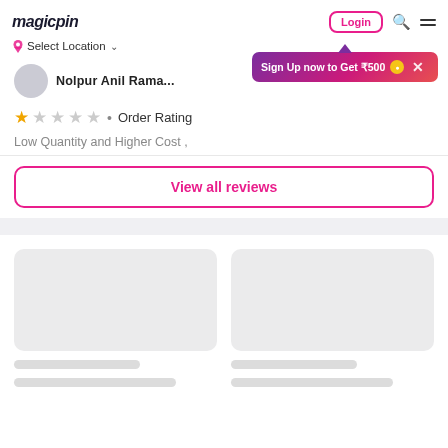magicpin | Select Location | Login
[Figure (screenshot): Sign Up now to Get ₹500 promotional banner with coin icon and close button]
Nolpur Anil Rama...
★☆☆☆☆ • Order Rating
Low Quantity and Higher Cost ,
View all reviews
[Figure (illustration): Two gray placeholder cards with loading skeleton lines below, indicating content loading state]